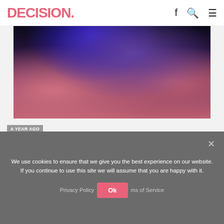DECISION.
[Figure (photo): Abstract swirling rock formation with deep blues, purples, and pinks — canyon-like texture]
A YEAR AGO
A YEAR AGO: OUTSIDE THE BOX, for real this time! (Transforming Strategy in 2021) Episode 1: Dreamers and Sober People
We use cookies to ensure that we give you the best experience on our website. If you continue to use this site we will assume that you are happy with it.
Privacy Policy  Ok  Terms of Service